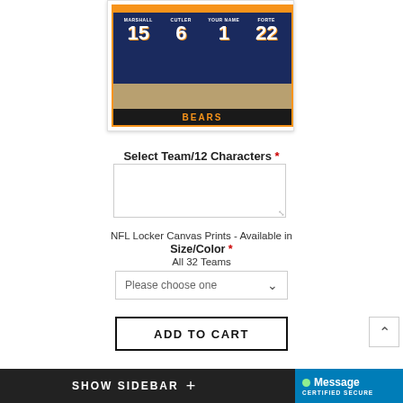[Figure (photo): Chicago Bears NFL locker room canvas print showing four jerseys numbered 15 (MARSHALL), 6 (CUTLER), 1 (YOUR NAME), 22 (FORTE) hanging in lockers with helmets below and BEARS branding at bottom]
Select Team/12 Characters *
[Figure (screenshot): Text input area (textarea) for entering team/character selection]
NFL Locker Canvas Prints - Available in Size/Color * All 32 Teams
[Figure (screenshot): Dropdown selector showing 'Please choose one' with chevron arrow]
ADD TO CART
SHOW SIDEBAR +